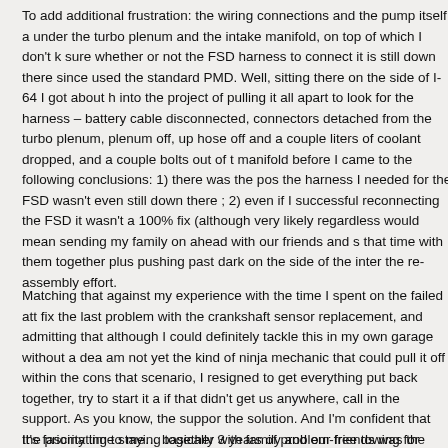To add additional frustration: the wiring connections and the pump itself a under the turbo plenum and the intake manifold, on top of which I don't k sure whether or not the FSD harness to connect it is still down there since used the standard PMD. Well, sitting there on the side of I-64 I got about h into the project of pulling it all apart to look for the harness – battery cable disconnected, connectors detached from the turbo plenum, plenum off, up hose off and a couple liters of coolant dropped, and a couple bolts out of t manifold before I came to the following conclusions: 1) there was the pos the harness I needed for the FSD wasn't even still down there ; 2) even if I successful reconnecting the FSD it wasn't a 100% fix (although very likely regardless would mean sending my family on ahead with our friends and s that time with them together plus pushing past dark on the side of the inter the re-assembly effort.
Matching that against my experience with the time I spent on the failed att fix the last problem with the crankshaft sensor replacement, and admitting that although I could definitely tackle this in my own garage without a dea am not yet the kind of ninja mechanic that could pull it off within the cons that scenario, I resigned to get everything put back together, try to start it a if that didn't get us anywhere, call in the support. As you know, the suppor the solution. And I'm confident that the priority time staying together with family and our friends was the right decision whatever the dollar costs end
It's fascinating to me… basically 3 years of problem-free towing for 50,000 and it was like something decided to pull t